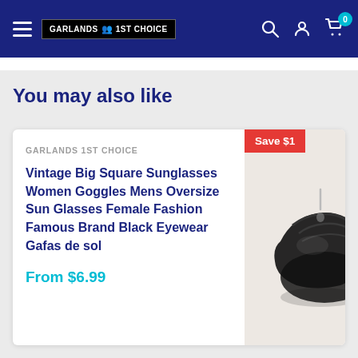[Figure (screenshot): Garlands 1st Choice e-commerce website header with hamburger menu, logo, search, account, and cart icons on dark blue background]
You may also like
GARLANDS 1ST CHOICE
Vintage Big Square Sunglasses Women Goggles Mens Oversize Sun Glasses Female Fashion Famous Brand Black Eyewear Gafas de sol
From $6.99
[Figure (photo): Black leather shoes/loafers product photo on light background with 'Save $1' red badge]